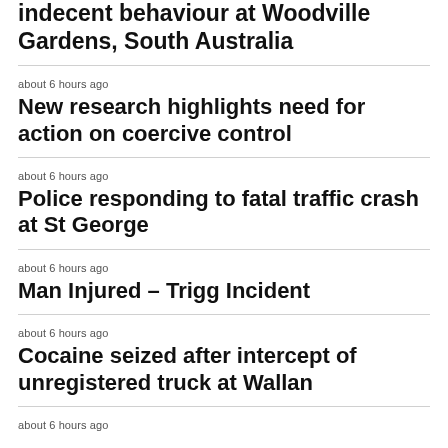indecent behaviour at Woodville Gardens, South Australia
about 6 hours ago
New research highlights need for action on coercive control
about 6 hours ago
Police responding to fatal traffic crash at St George
about 6 hours ago
Man Injured – Trigg Incident
about 6 hours ago
Cocaine seized after intercept of unregistered truck at Wallan
about 6 hours ago